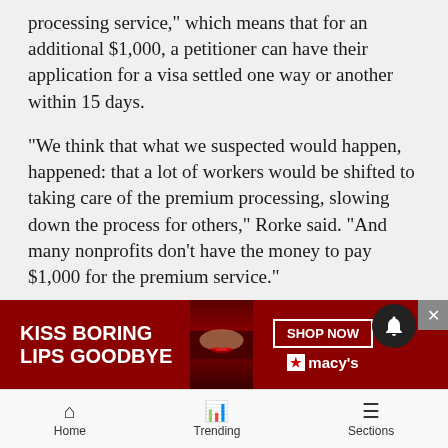processing service,” which means that for an additional $1,000, a petitioner can have their application for a visa settled one way or another within 15 days.
“We think that what we suspected would happen, happened: that a lot of workers would be shifted to taking care of the premium processing, slowing down the process for others,” Rorke said. “And many nonprofits don’t have the money to pay $1,000 for the premium service.”
According to Aspen Santa Fe Ballet Executive Director Jean-Philippe Malaty, the company had applied for an “alien of extraordinary ability of the arts” visa for Godan[...] has ne[...] said
[Figure (other): Advertisement banner: KISS BORING LIPS GOODBYE with SHOP NOW and Macy's logo, overlaid on article text]
Home | Trending | Sections